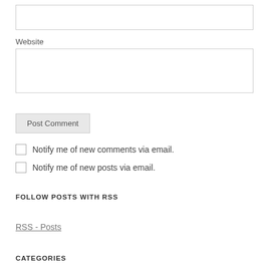Website
Post Comment
Notify me of new comments via email.
Notify me of new posts via email.
FOLLOW POSTS WITH RSS
RSS - Posts
CATEGORIES